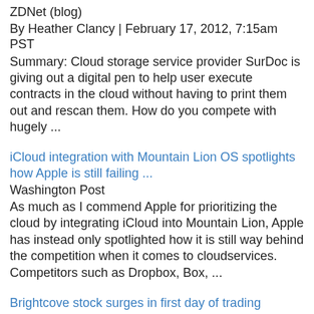ZDNet (blog)
By Heather Clancy | February 17, 2012, 7:15am PST
Summary: Cloud storage service provider SurDoc is giving out a digital pen to help user execute contracts in the cloud without having to print them out and rescan them. How do you compete with hugely ...
iCloud integration with Mountain Lion OS spotlights how Apple is still failing ...
Washington Post
As much as I commend Apple for prioritizing the cloud by integrating iCloud into Mountain Lion, Apple has instead only spotlighted how it is still way behind the competition when it comes to cloudservices. Competitors such as Dropbox, Box, ...
Brightcove stock surges in first day of trading
BusinessWeek
The company, which provides cloud-based video publishing services, raised $55 million in an initial public offering. It priced 5 million shares at $11 each, within its expected range of $10 to $12 for each share. Brightcove plans to use the